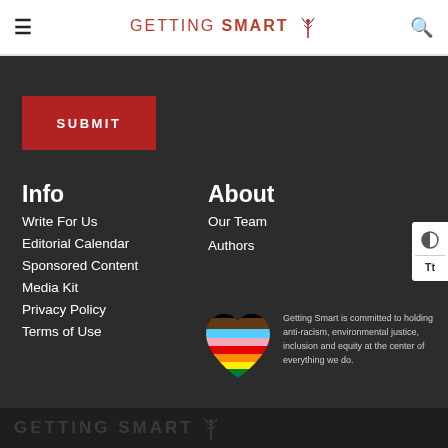GETTING SMART
SUBMIT
Info
Write For Us
Editorial Calendar
Sponsored Content
Media Kit
Privacy Policy
Terms of Use
About
Our Team
Authors
[Figure (illustration): Progress pride flag heart symbol]
Getting Smart is committed to holding anti-racism, environmental justice, inclusion and equity at the center of everything we do.
GETTING SMART